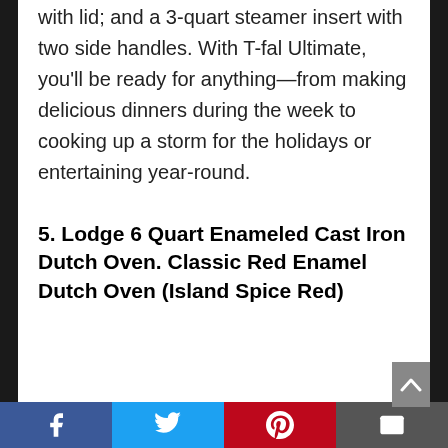with lid; and a 3-quart steamer insert with two side handles. With T-fal Ultimate, you'll be ready for anything—from making delicious dinners during the week to cooking up a storm for the holidays or entertaining year-round.
5. Lodge 6 Quart Enameled Cast Iron Dutch Oven. Classic Red Enamel Dutch Oven (Island Spice Red)